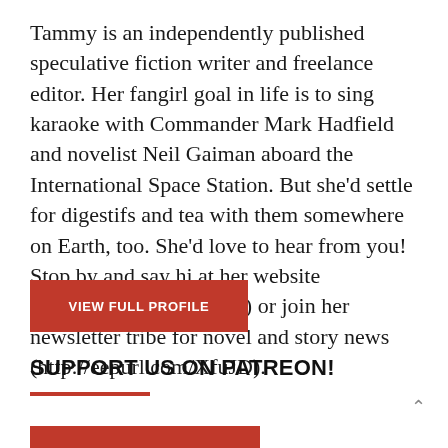Tammy is an independently published speculative fiction writer and freelance editor. Her fangirl goal in life is to sing karaoke with Commander Mark Hadfield and novelist Neil Gaiman aboard the International Space Station. But she'd settle for digestifs and tea with them somewhere on Earth, too. She'd love to hear from you! Stop by and say hi at her website (www.tammysalyer.com) or join her newsletter tribe for novel and story news (http://eepurl.com/XfuJD).
VIEW FULL PROFILE
SUPPORT US ON PATREON!